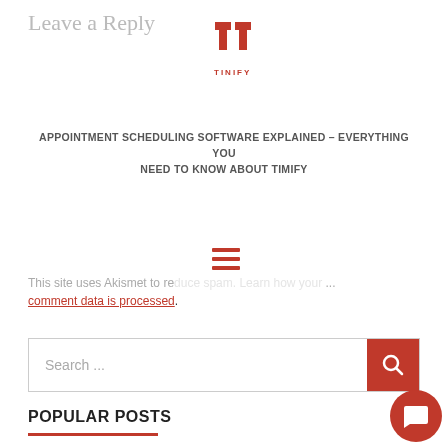Leave a Reply
[Figure (logo): Tinify logo — red T-shaped icon with TINIFY text below]
APPOINTMENT SCHEDULING SOFTWARE EXPLAINED – EVERYTHING YOU NEED TO KNOW ABOUT TIMIFY
[Figure (other): Hamburger menu icon (three red horizontal lines)]
This site uses Akismet to reduce spam. Learn how your comment data is processed.
POPULAR POSTS
Seven different ways appointment booking software can revitalise your retail expe…
8th April 2021